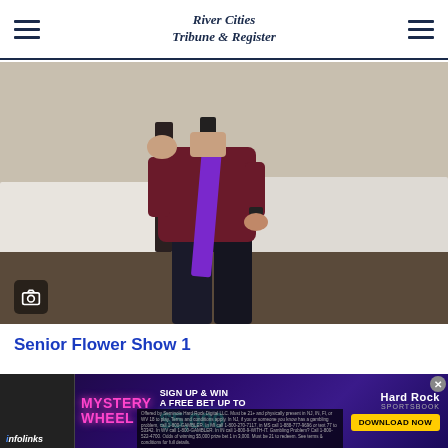River Cities Tribune & Register
[Figure (photo): Person wearing a maroon sleeveless top and purple ribbon/sash, standing indoors near tables covered with white cloths]
Senior Flower Show 1
This website uses cookies to enhance user experience and to analyze performance and traffic on our website.
[Figure (infographic): Hard Rock Sportsbook advertisement: Mystery Wheel - Sign Up & Win a Free Bet Up To $5,000 - Download Now]